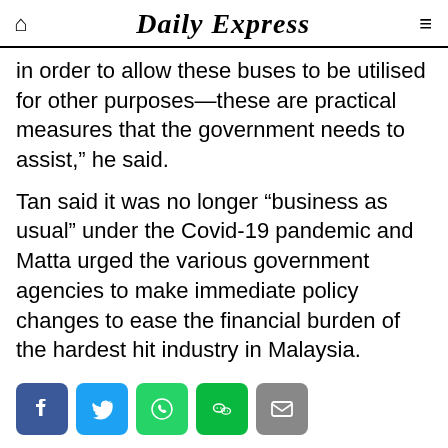Daily Express
in order to allow these buses to be utilised for other purposes—these are practical measures that the government needs to assist,” he said.
Tan said it was no longer “business as usual” under the Covid-19 pandemic and Matta urged the various government agencies to make immediate policy changes to ease the financial burden of the hardest hit industry in Malaysia.
[Figure (infographic): Social share buttons: Facebook (blue), Twitter (blue), WhatsApp (green), WeChat (green), Email (grey)]
What is your reaction? Powered by Vuukle
[Figure (infographic): Six emoji reaction faces each showing 0%, from left to right: laughing, neutral, smile, tears of joy/laughing, angry, sad/pouty]